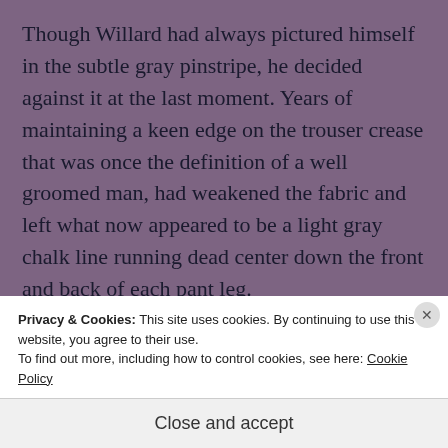Though Willard had always pictured himself in the subtle gray pinstripe, he decided against it at the last moment. Years of maintaining a keen edge on the trouser crease that was once the definition of a well groomed man, had weakened the fabric and left what now appeared to be a light gray chalk line running dead center down the front and back of each pant leg.
Privacy & Cookies: This site uses cookies. By continuing to use this website, you agree to their use.
To find out more, including how to control cookies, see here: Cookie Policy
Close and accept